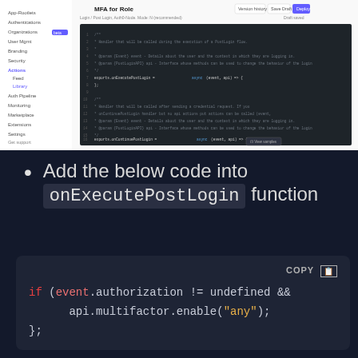[Figure (screenshot): Auth0 dashboard screenshot showing 'MFA for Role' configuration panel with a code editor displaying JavaScript action code. Left sidebar shows navigation items. The code editor shows a dark-themed code snippet with comments and exports.onExecutePostLogin function.]
Add the below code into onExecutePostLogin function
[Figure (screenshot): Code block showing: if (event.authorization != undefined && api.multifactor.enable("any"); }; with syntax highlighting. Red 'if' keyword, orange 'event' variable, yellow 'any' string. COPY button in top right.]